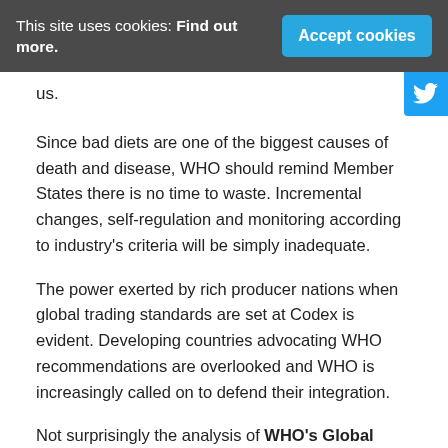This site uses cookies: Find out more.  Accept cookies
us.
Since bad diets are one of the biggest causes of death and disease, WHO should remind Member States there is no time to waste. Incremental changes, self-regulation and monitoring according to industry's criteria will be simply inadequate.
The power exerted by rich producer nations when global trading standards are set at Codex is evident. Developing countries advocating WHO recommendations are overlooked and WHO is increasingly called on to defend their integration.
Not surprisingly the analysis of WHO's Global Coordinating Mechanism “finds the effectiveness of the activities and outputs.. to be MODEST.”  Similarly, after over 10 years, the